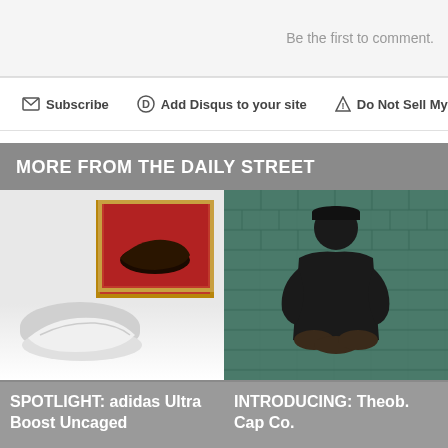Be the first to comment.
Subscribe   Add Disqus to your site   Do Not Sell My Data
MORE FROM THE DAILY STREET
[Figure (photo): Photo of adidas Ultra Boost Uncaged sneakers on white surface with red-framed display]
SPOTLIGHT: adidas Ultra Boost Uncaged
[Figure (photo): Photo of a person in black hoodie and cap seated against green tiled brick wall]
INTRODUCING: Theob. Cap Co.